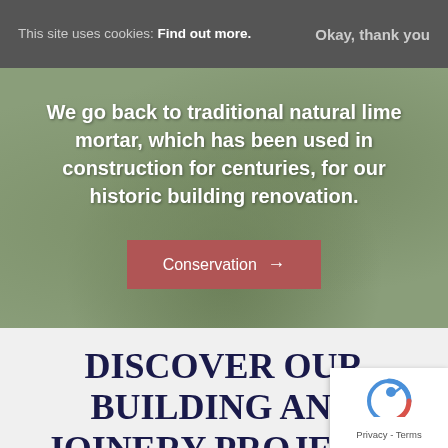This site uses cookies: Find out more.
Okay, thank you
We go back to traditional natural lime mortar, which has been used in construction for centuries, for our historic building renovation.
Conservation →
DISCOVER OUR BUILDING AND JOINERY PROJECTS
[Figure (other): reCAPTCHA badge with Privacy and Terms links]